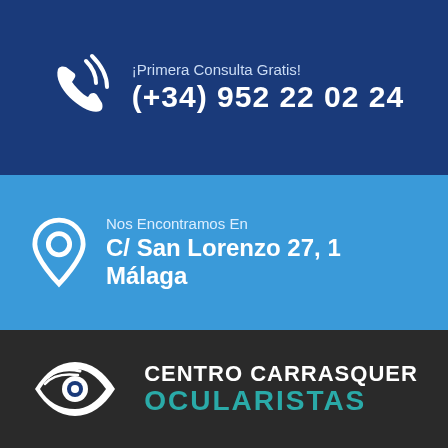[Figure (infographic): Dark blue banner with phone icon and text: ¡Primera Consulta Gratis! (+34) 952 22 02 24]
[Figure (infographic): Light blue banner with map pin icon and text: Nos Encontramos En C/ San Lorenzo 27, 1 Málaga]
[Figure (logo): Centro Carrasquer Ocularistas logo on dark background — eye icon with CENTRO CARRASQUER OCULARISTAS text]